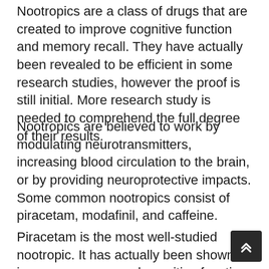Nootropics are a class of drugs that are created to improve cognitive function and memory recall. They have actually been revealed to be efficient in some research studies, however the proof is still initial. More research study is needed to comprehend the full degree of their results.
Nootropics are believed to work by modulating neurotransmitters, increasing blood circulation to the brain, or by providing neuroprotective impacts. Some common nootropics consist of piracetam, modafinil, and caffeine.
Piracetam is the most well-studied nootropic. It has actually been shown to improve memory and cognitive function in individuals with Alzheimer's illness, dementia, and age-related cognitive decrease. Modafinil is a wakefulness-promoting representative that has been revealed to enhance wakefulness and attention in individuals with...